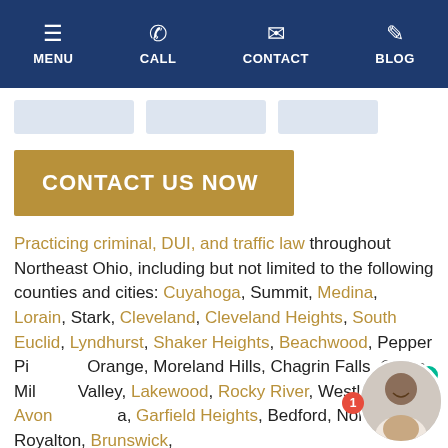MENU | CALL | CONTACT | BLOG
[Figure (screenshot): Placeholder image boxes (3 rectangles)]
CONTACT US NOW
Practicing criminal, DUI, and traffic law throughout Northeast Ohio, including but not limited to the following counties and cities: Cuyahoga, Summit, Medina, Lorain, Stark, Cleveland, Cleveland Heights, South Euclid, Lyndhurst, Shaker Heights, Beachwood, Pepper Pike, Orange, Moreland Hills, Chagrin Falls, Gates Mills, Valley, Lakewood, Rocky River, Westlake, Avon Lake, Garfield Heights, Bedford, North Royalton, Brunswick,